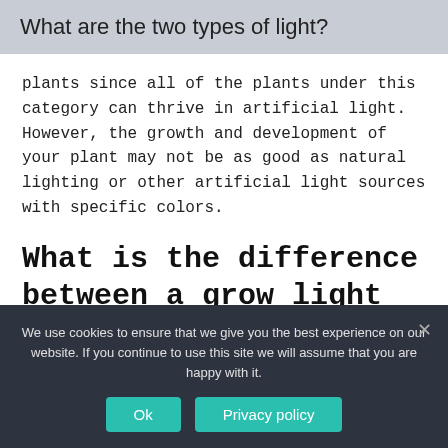What are the two types of light?
plants since all of the plants under this category can thrive in artificial light. However, the growth and development of your plant may not be as good as natural lighting or other artificial light sources with specific colors.
What is the difference between a grow light and a regular light?
We use cookies to ensure that we give you the best experience on our website. If you continue to use this site we will assume that you are happy with it.